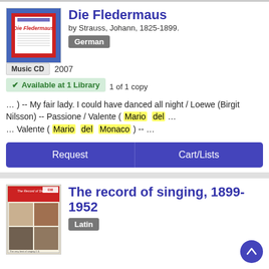Die Fledermaus
by Strauss, Johann, 1825-1899.
German
Music CD  2007
Available at 1 Library  1 of 1 copy
… ) -- My fair lady. I could have danced all night / Loewe (Birgit Nilsson) -- Passione / Valente ( Mario  del … … Valente ( Mario  del  Monaco ) -- …
Request
Cart/Lists
The record of singing, 1899-1952
Latin